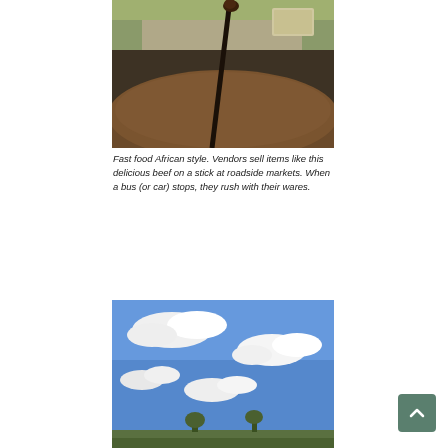[Figure (photo): Close-up photo taken from inside a vehicle showing a fuzzy brown dashboard cover and a dark stick (beef on a stick) held up, with a road and greenery visible through the windshield and a small sticker on the glass.]
Fast food African style. Vendors sell items like this delicious beef on a stick at roadside markets. When a bus (or car) stops, they rush with their wares.
[Figure (photo): Photo of a blue sky with scattered white clouds and a faint landscape at the bottom.]